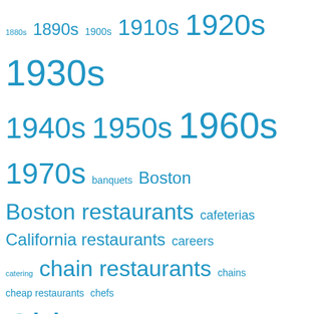[Figure (other): Tag cloud / word cloud of restaurant history topics, rendered in various font sizes in blue. Terms include decades (1880s through 1970s), cities (Boston, Chicago, Los Angeles, New York City), and restaurant-related topics (banquets, cafeterias, chain restaurants, fast food, lunch rooms, etc.).]